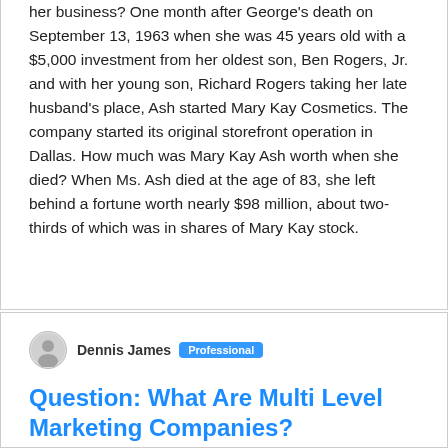her business? One month after George's death on September 13, 1963 when she was 45 years old with a $5,000 investment from her oldest son, Ben Rogers, Jr. and with her young son, Richard Rogers taking her late husband's place, Ash started Mary Kay Cosmetics. The company started its original storefront operation in Dallas. How much was Mary Kay Ash worth when she died? When Ms. Ash died at the age of 83, she left behind a fortune worth nearly $98 million, about two-thirds of which was in shares of Mary Kay stock.
Dennis James Professional
Question: What Are Multi Level Marketing Companies?
Multi-level marketing (MLM), also called